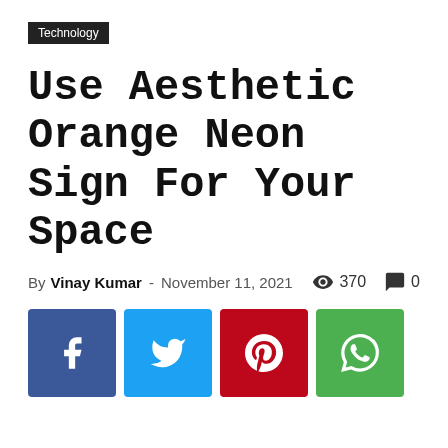Technology
Use Aesthetic Orange Neon Sign For Your Space
By Vinay Kumar - November 11, 2021  👁 370  💬 0
[Figure (other): Social share buttons: Facebook (blue), Twitter (light blue), Pinterest (red), WhatsApp (green)]